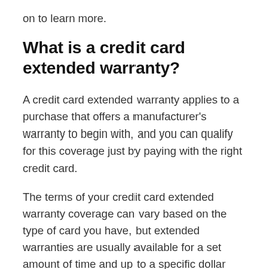on to learn more.
What is a credit card extended warranty?
A credit card extended warranty applies to a purchase that offers a manufacturer's warranty to begin with, and you can qualify for this coverage just by paying with the right credit card.
The terms of your credit card extended warranty coverage can vary based on the type of card you have, but extended warranties are usually available for a set amount of time and up to a specific dollar amount. Other terms can apply. For example, credit card extended warranties from some types